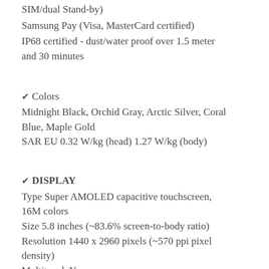SIM/dual Stand-by)
Samsung Pay (Visa, MasterCard certified)
IP68 certified - dust/water proof over 1.5 meter and 30 minutes
✔ Colors
Midnight Black, Orchid Gray, Arctic Silver, Coral Blue, Maple Gold
SAR EU 0.32 W/kg (head) 1.27 W/kg (body)
✔ DISPLAY
Type Super AMOLED capacitive touchscreen, 16M colors
Size 5.8 inches (~83.6% screen-to-body ratio)
Resolution 1440 x 2960 pixels (~570 ppi pixel density)
Multitouch Yes